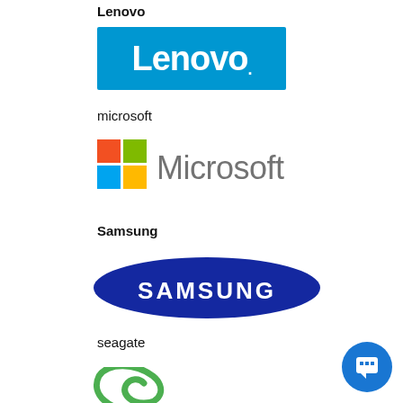Lenovo
[Figure (logo): Lenovo logo: white text 'Lenovo.' on a blue rectangle background]
microsoft
[Figure (logo): Microsoft logo: four-color Windows flag icon followed by 'Microsoft' in grey text]
Samsung
[Figure (logo): Samsung logo: white 'SAMSUNG' text on dark blue ellipse]
seagate
[Figure (logo): Seagate logo: partial green swirl icon visible at bottom]